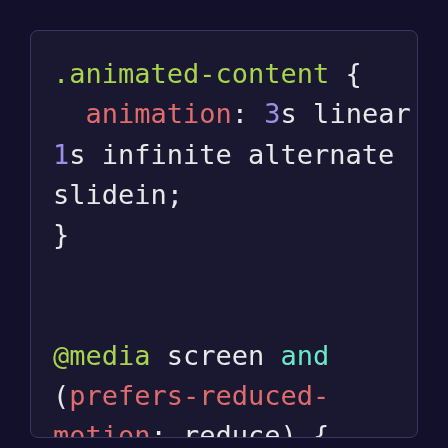[Figure (screenshot): CSS code snippet on dark background showing .animated-content rule with animation property and @media screen query with prefers-reduced-motion]